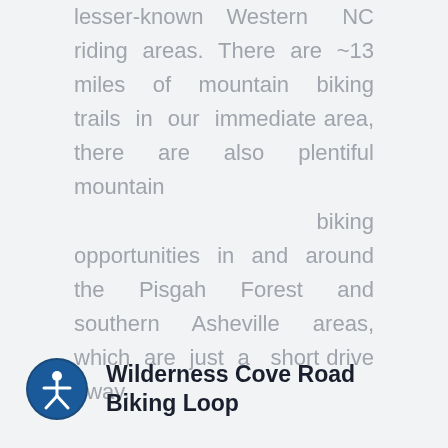lesser-known Western NC riding areas. There are ~13 miles of mountain biking trails in our immediate area, there are also plentiful mountain biking opportunities in and around the Pisgah Forest and southern Asheville areas, which are just a short drive away.
Wilderness Cove Road Biking Loop